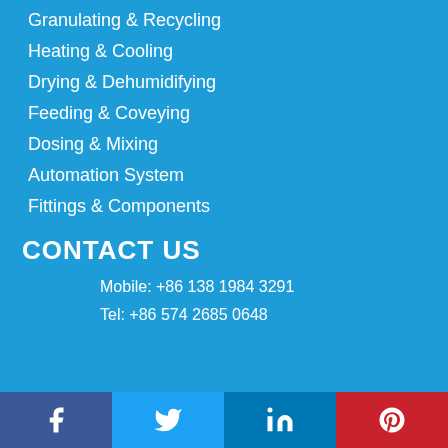Granulating & Recycling
Heating & Cooling
Drying & Dehumidifying
Feeding & Coveying
Dosing & Mixing
Automation System
Fittings & Components
CONTACT US
Mobile: +86 138 1984 3291
Tel: +86 574 2685 0648
Facebook | Twitter | LinkedIn | Pinterest